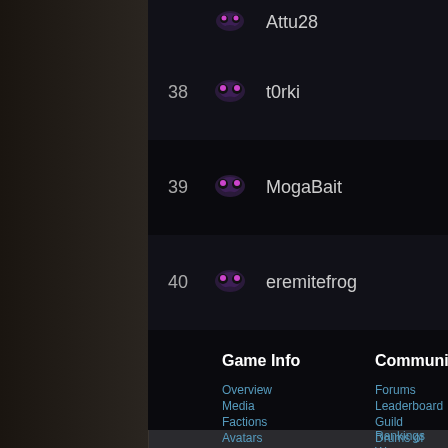| Rank | Avatar | Username |
| --- | --- | --- |
|  |  | Attu28 |
| 38 |  | t0rki |
| 39 |  | MogaBait |
| 40 |  | eremitefrog |
Game Info
Community
Overview
Media
Factions
Avatars
Getting Started
The Pox Nora Story
Forums
Leaderboard
Guild Rankings
Drums of War